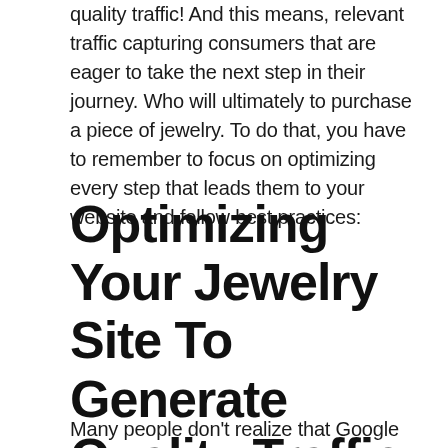quality traffic! And this means, relevant traffic capturing consumers that are eager to take the next step in their journey. Who will ultimately to purchase a piece of jewelry. To do that, you have to remember to focus on optimizing every step that leads them to your website and follow best practices:
Optimizing Your Jewelry Site To Generate Quality Traffic
Many people don't realize that Google actively